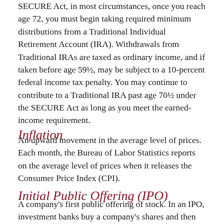SECURE Act, in most circumstances, once you reach age 72, you must begin taking required minimum distributions from a Traditional Individual Retirement Account (IRA). Withdrawals from Traditional IRAs are taxed as ordinary income, and if taken before age 59½, may be subject to a 10-percent federal income tax penalty. You may continue to contribute to a Traditional IRA past age 70½ under the SECURE Act as long as you meet the earned-income requirement.
Inflation
An upward movement in the average level of prices. Each month, the Bureau of Labor Statistics reports on the average level of prices when it releases the Consumer Price Index (CPI).
Initial Public Offering (IPO)
A company's first public offering of stock. In an IPO, investment banks buy a company's shares and then offer them to the public at an offering price. As the stock is